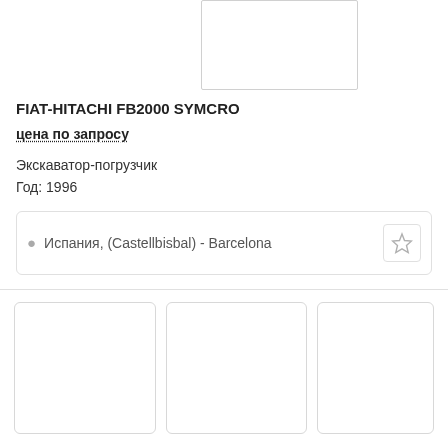[Figure (photo): Blank/loading product image placeholder box at top center]
FIAT-HITACHI FB2000 SYMCRO
цена по запросу
Экскаватор-погрузчик
Год: 1996
Испания, (Castellbisbal) - Barcelona
[Figure (photo): Three thumbnail image placeholder boxes at the bottom]
[Figure (photo): Second thumbnail placeholder]
[Figure (photo): Third thumbnail placeholder (partially visible)]